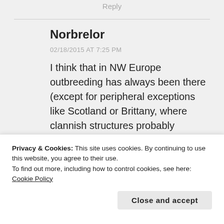Reply
Norbrelor
02/18/2015 AT 7:25 PM
I think that in NW Europe outbreeding has always been there (except for peripheral exceptions like Scotland or Brittany, where clannish structures probably appeared late in history),
ideology, and gave birth to
Privacy & Cookies: This site uses cookies. By continuing to use this website, you agree to their use.
To find out more, including how to control cookies, see here: Cookie Policy
Close and accept